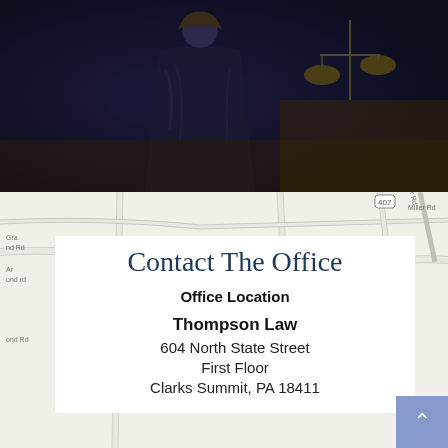[Figure (photo): Dark atmospheric hero image showing a figure representing justice, with scales of justice visible, dark blue and brown tones]
[Figure (map): Street map showing roads including route 407, Miller Rd, and other local roads near Clarks Summit PA area]
Contact The Office
Office Location
Thompson Law
604 North State Street
First Floor
Clarks Summit, PA 18411